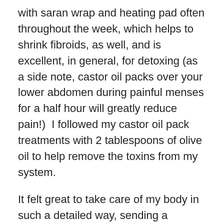with saran wrap and heating pad often throughout the week, which helps to shrink fibroids, as well, and is excellent, in general, for detoxing (as a side note, castor oil packs over your lower abdomen during painful menses for a half hour will greatly reduce pain!)  I followed my castor oil pack treatments with 2 tablespoons of olive oil to help remove the toxins from my system.
It felt great to take care of my body in such a detailed way, sending a definite communique to my uterus that, although I appreciated the non-malignant message, I'd learned my lessons they were giving me, and their time was done!  I supplemented myself with meditations to envision my uterus at its normal size, pink, and healthy,